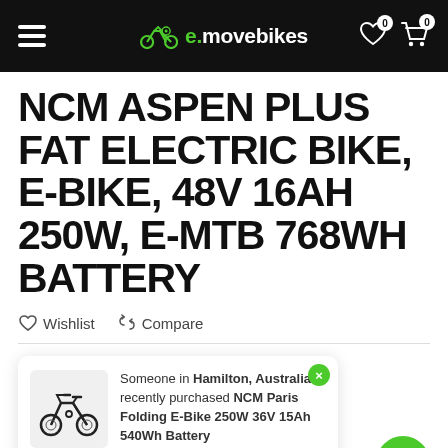e.movebikes navigation header
NCM ASPEN PLUS FAT ELECTRIC BIKE, E-BIKE, 48V 16AH 250W, E-MTB 768WH BATTERY
Wishlist  Compare
Someone in Hamilton, Australia recently purchased NCM Paris Folding E-Bike 250W 36V 15Ah 540Wh Battery